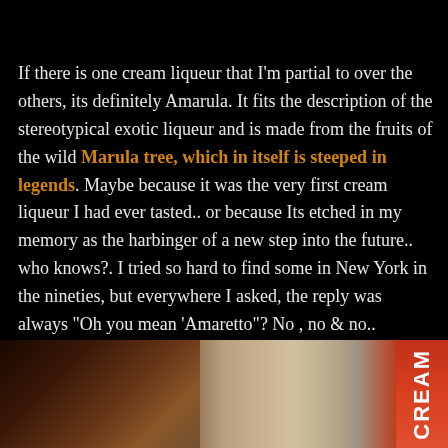If there is one cream liqueur that I'm partial to over the others, its definitely Amarula. It fits the description of the stereotypical exotic liqueur and is made from the fruits of the wild Marula tree, which in itself is steeped in legends. Maybe because it was the very first cream liqueur I had ever tasted.. or because Its etched in my memory as the harbinger of a new step into the future.. who knows?. I tried so hard to find some in New York in the nineties, but everywhere I asked, the reply was always "Oh you mean 'Amaretto"? No , no & no..
[Figure (photo): Partial photo of what appears to be a bottle or package, showing dark warm tones on the left and a red label section on the right with 'CREAM' text visible vertically.]